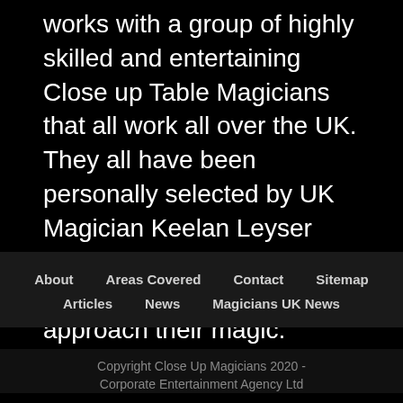works with a group of highly skilled and entertaining Close up Table Magicians that all work all over the UK. They all have been personally selected by UK Magician Keelan Leyser because of their professional and personal approach their magic.
About   Areas Covered   Contact   Sitemap   Articles   News   Magicians UK News
Copyright Close Up Magicians 2020 - Corporate Entertainment Agency Ltd